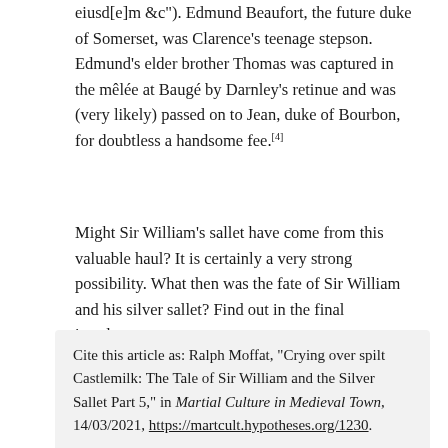eiusd[e]m &c"). Edmund Beaufort, the future duke of Somerset, was Clarence's teenage stepson. Edmund's elder brother Thomas was captured in the mêlée at Baugé by Darnley's retinue and was (very likely) passed on to Jean, duke of Bourbon, for doubtless a handsome fee.[4]
Might Sir William's sallet have come from this valuable haul? It is certainly a very strong possibility. What then was the fate of Sir William and his silver sallet? Find out in the final instalment.
Cite this article as: Ralph Moffat, "Crying over spilt Castlemilk: The Tale of Sir William and the Silver Sallet Part 5," in Martial Culture in Medieval Town, 14/03/2021, https://martcult.hypotheses.org/1230.